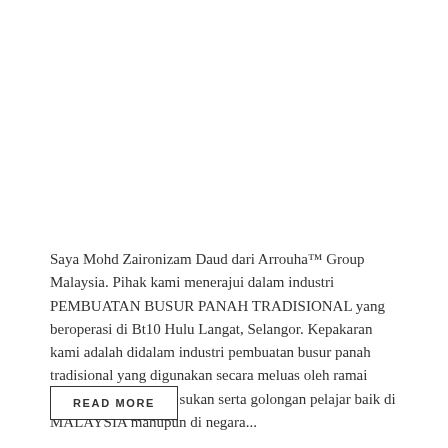Saya Mohd Zaironizam Daud dari Arrouha™ Group Malaysia. Pihak kami menerajui dalam industri PEMBUATAN BUSUR PANAH TRADISIONAL yang beroperasi di Bt10 Hulu Langat, Selangor. Kepakaran kami adalah didalam industri pembuatan busur panah tradisional yang digunakan secara meluas oleh ramai PEMANAH dan ahli sukan serta golongan pelajar baik di MALAYSIA mahupun di negara...
READ MORE